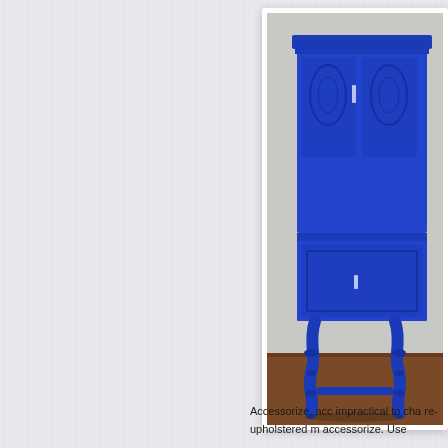[Figure (photo): A blue painted antique wooden cabinet with decorative carved panels and turned legs, standing against a light grey wall on a dark wood floor. The cabinet is painted in a bold cobalt/royal blue color.]
Accessorize, acc impractical to cha re-upholstered m accessorize. Use